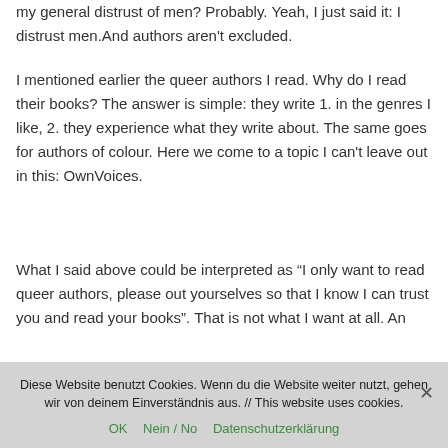my general distrust of men? Probably. Yeah, I just said it: I distrust men.And authors aren't excluded.
I mentioned earlier the queer authors I read. Why do I read their books? The answer is simple: they write 1. in the genres I like, 2. they experience what they write about. The same goes for authors of colour. Here we come to a topic I can't leave out in this: OwnVoices.
What I said above could be interpreted as “I only want to read queer authors, please out yourselves so that I know I can trust you and read your books”. That is not what I want at all. An
Diese Website benutzt Cookies. Wenn du die Website weiter nutzt, gehen wir von deinem Einverständnis aus. // This website uses cookies.
OK   Nein / No   Datenschutzerklärung